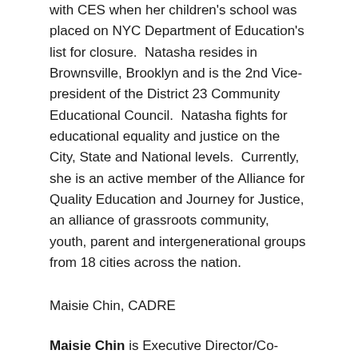with CES when her children's school was placed on NYC Department of Education's list for closure. Natasha resides in Brownsville, Brooklyn and is the 2nd Vice-president of the District 23 Community Educational Council. Natasha fights for educational equality and justice on the City, State and National levels. Currently, she is an active member of the Alliance for Quality Education and Journey for Justice, an alliance of grassroots community, youth, parent and intergenerational groups from 18 cities across the nation.
Maisie Chin, CADRE
Maisie Chin is Executive Director/Co-Founder of CADRE, a 300-member parent organization in South LA led by African American and Latino parents. A native Californian and child of immigrants, Maisie has spent two decades